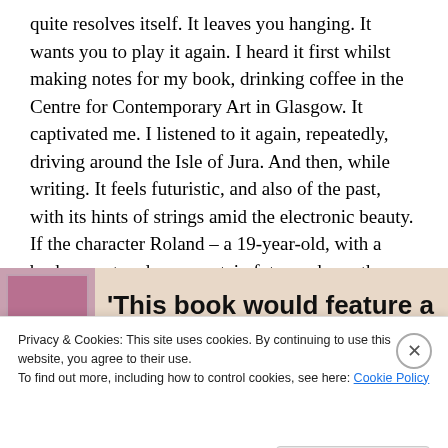quite resolves itself. It leaves you hanging. It wants you to play it again. I heard it first whilst making notes for my book, drinking coffee in the Centre for Contemporary Art in Glasgow. It captivated me. I listened to it again, repeatedly, driving around the Isle of Jura. And then, while writing. It feels futuristic, and also of the past, with its hints of strings amid the electronic beauty. If the character Roland – a 19-year-old, with a broken past and an uncertain future – has a theme tune, it is this.
[Figure (other): Partial view of a book cover image (pinkish-purple framed picture) next to large bold text reading '‘This book would feature a']
Privacy & Cookies: This site uses cookies. By continuing to use this website, you agree to their use.
To find out more, including how to control cookies, see here: Cookie Policy
Close and accept